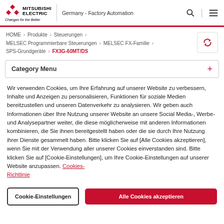Mitsubishi Electric | Germany - Factory Automation
HOME > Produkte > Steuerungen > MELSEC Programmierbare Steuerungen > MELSEC FX-Familie > SPS-Grundgeräte > FX3G-60MT/DS
Category Menu
Wir verwenden Cookies, um Ihre Erfahrung auf unserer Website zu verbessern, Inhalte und Anzeigen zu personalisieren, Funktionen für soziale Medien bereitzustellen und unseren Datenverkehr zu analysieren. Wir geben auch Informationen über Ihre Nutzung unserer Website an unsere Social Media-, Werbe- und Analysepartner weiter, die diese möglicherweise mit anderen Informationen kombinieren, die Sie ihnen bereitgestellt haben oder die sie durch Ihre Nutzung ihrer Dienste gesammelt haben. Bitte klicken Sie auf [Alle Cookies akzeptieren], wenn Sie mit der Verwendung aller unserer Cookies einverstanden sind. Bitte klicken Sie auf [Cookie-Einstellungen], um Ihre Cookie-Einstellungen auf unserer Website anzupassen. Cookies-Richtlinie
Cookie-Einstellungen | Alle Cookies akzeptieren